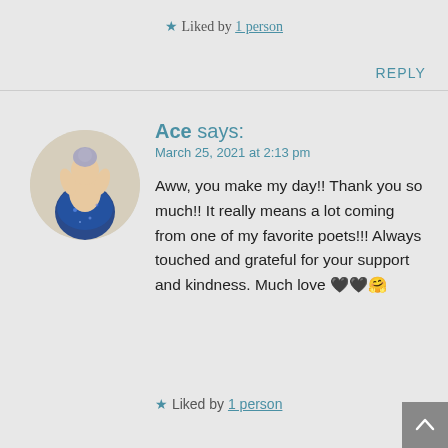★ Liked by 1 person
REPLY
[Figure (illustration): Circular avatar image showing a person from behind with blue clothing and hair up, on a light/cream background]
Ace says:
March 25, 2021 at 2:13 pm
Aww, you make my day!! Thank you so much!! It really means a lot coming from one of my favorite poets!!! Always touched and grateful for your support and kindness. Much love 🖤🖤🤗
★ Liked by 1 person